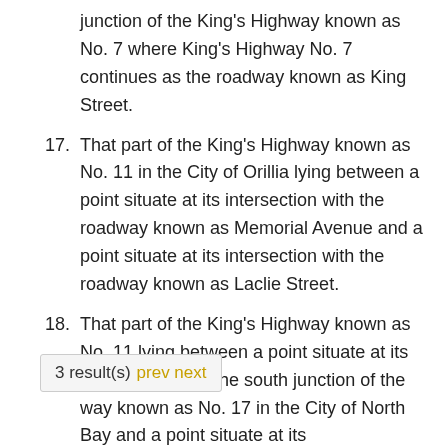junction of the King's Highway known as No. 7 where King's Highway No. 7 continues as the roadway known as King Street.
17. That part of the King's Highway known as No. 11 in the City of Orillia lying between a point situate at its intersection with the roadway known as Memorial Avenue and a point situate at its intersection with the roadway known as Laclie Street.
18. That part of the King's Highway known as No. 11 lying between a point situate at its intersection with the south junction of the way known as No. 17 in the City of North Bay and a point situate at its
3 result(s) prev next